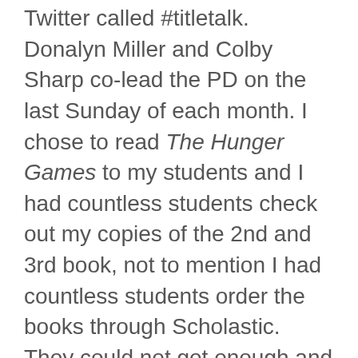Twitter called #titletalk. Donalyn Miller and Colby Sharp co-lead the PD on the last Sunday of each month. I chose to read The Hunger Games to my students and I had countless students check out my copies of the 2nd and 3rd book, not to mention I had countless students order the books through Scholastic. They could not get enough and we had multiple conversations about the books. I even witnessed students talking about it at lunch.
2. Bring in authors. As my 7th graders finished up the myth and legends unit, I